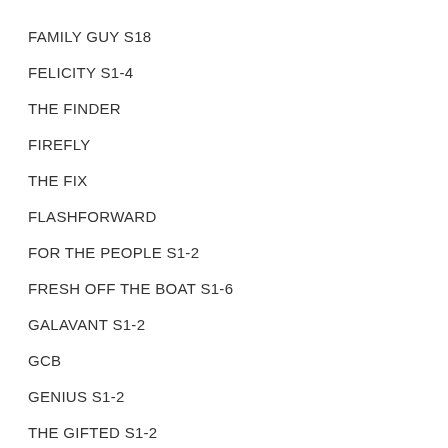FAMILY GUY S18
FELICITY S1-4
THE FINDER
FIREFLY
THE FIX
FLASHFORWARD
FOR THE PEOPLE S1-2
FRESH OFF THE BOAT S1-6
GALAVANT S1-2
GCB
GENIUS S1-2
THE GIFTED S1-2
THE GLADES S1-4